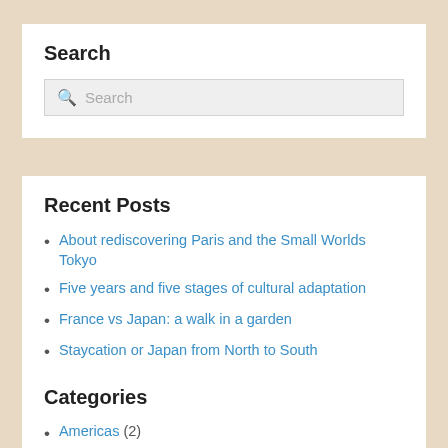Search
[Figure (other): Search input box with magnifying glass icon and placeholder text 'Search']
Recent Posts
About rediscovering Paris and the Small Worlds Tokyo
Five years and five stages of cultural adaptation
France vs Japan: a walk in a garden
Staycation or Japan from North to South
About a French Glass Master and the Orient Express
Categories
Americas (2)